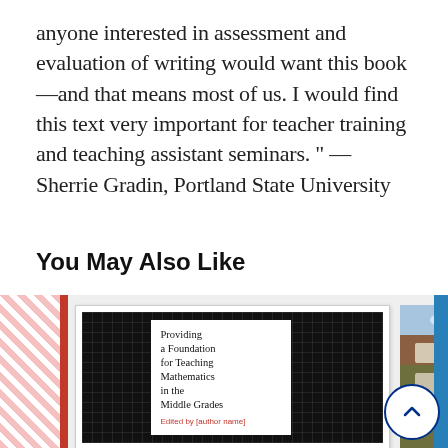anyone interested in assessment and evaluation of writing would want this book—and that means most of us. I would find this text very important for teacher training and teaching assistant seminars. " — Sherrie Gradin, Portland State University
You May Also Like
[Figure (photo): Carousel of book covers and related images. Left: partial pink/red striped book cover. Center: book titled 'Providing a Foundation for Teaching Mathematics in the Middle Grades' with black grid cover and white text box. Right: photograph of a brick ivy-covered university building. Far right: partial blue book cover.]